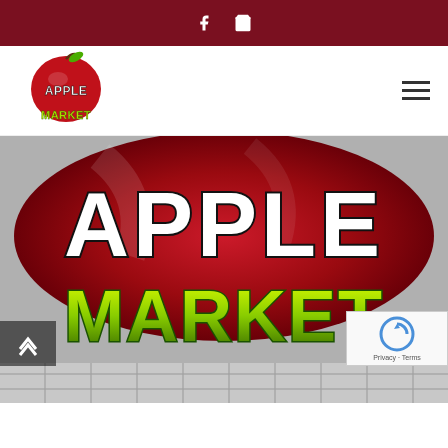Apple Market website header navigation bar with social icons (Facebook, shopping bag) on dark red top bar
[Figure (logo): Apple Market logo — red apple with green leaf and yellow-green MARKET text]
[Figure (photo): Large Apple Market sign image showing APPLE text on a red apple shape and MARKET in large yellow-green letters, with brick background at bottom]
reCAPTCHA | Privacy - Terms